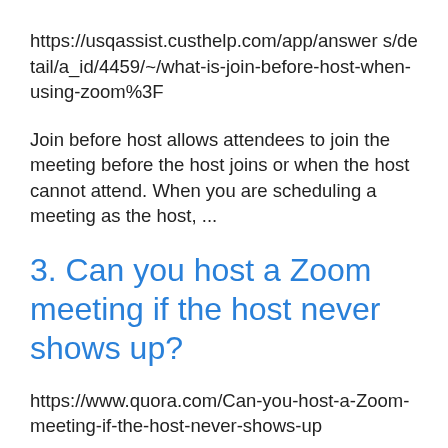https://usqassist.custhelp.com/app/answers/detail/a_id/4459/~/what-is-join-before-host-when-using-zoom%3F
Join before host allows attendees to join the meeting before the host joins or when the host cannot attend. When you are scheduling a meeting as the host, ...
3. Can you host a Zoom meeting if the host never shows up?
https://www.quora.com/Can-you-host-a-Zoom-meeting-if-the-host-never-shows-up